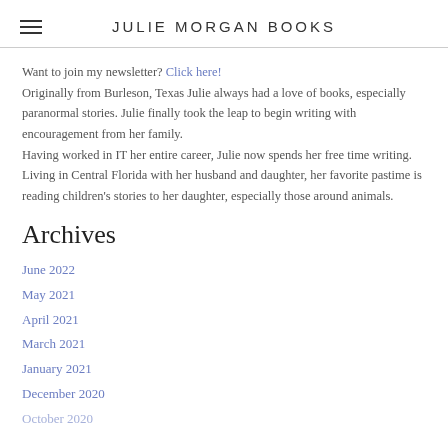JULIE MORGAN BOOKS
Want to join my newsletter? Click here!
Originally from Burleson, Texas Julie always had a love of books, especially paranormal stories. Julie finally took the leap to begin writing with encouragement from her family.
Having worked in IT her entire career, Julie now spends her free time writing. Living in Central Florida with her husband and daughter, her favorite pastime is reading children's stories to her daughter, especially those around animals.
Archives
June 2022
May 2021
April 2021
March 2021
January 2021
December 2020
October 2020